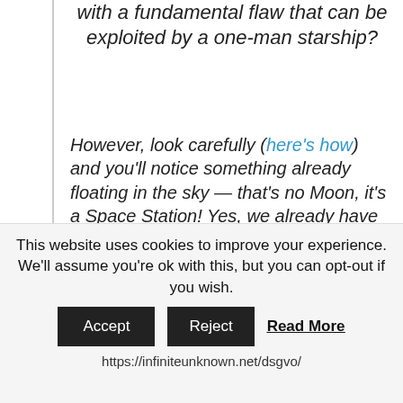with a fundamental flaw that can be exploited by a one-man starship?
However, look carefully (here's how) and you'll notice something already floating in the sky — that's no Moon, it's a Space Station! Yes, we already have a giant, football field-sized International Space Station in orbit around the Earth that's helping us learn how humans can live and thrive in space for long durations. The Space Station has six astronauts — American, Russian, and Canadian — living in it right now, conducting research, learning how to live and work in space
This website uses cookies to improve your experience. We'll assume you're ok with this, but you can opt-out if you wish. Accept Reject Read More https://infiniteunknown.net/dsgvo/